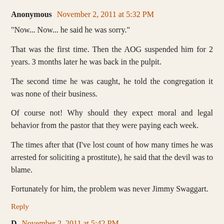Anonymous  November 2, 2011 at 5:32 PM
"Now... Now... he said he was sorry."

That was the first time. Then the AOG suspended him for 2 years. 3 months later he was back in the pulpit.

The second time he was caught, he told the congregation it was none of their business.

Of course not! Why should they expect moral and legal behavior from the pastor that they were paying each week.

The times after that (I've lost count of how many times he was arrested for soliciting a prostitute), he said that the devil was to blame.

Fortunately for him, the problem was never Jimmy Swaggart.
Reply
D  November 2, 2011 at 5:42 PM